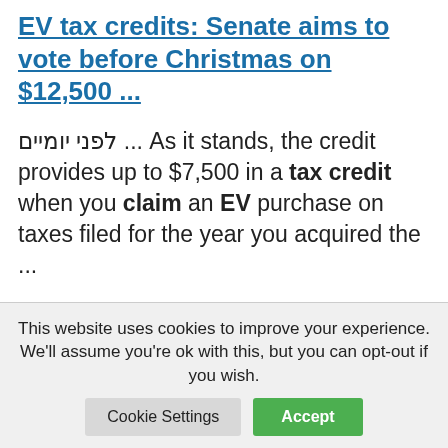EV tax credits: Senate aims to vote before Christmas on $12,500 ...
לפני יומיים ... As it stands, the credit provides up to $7,500 in a tax credit when you claim an EV purchase on taxes filed for the year you acquired the ...
EV Statistics of the Week: Historical US EV Sales, Growth & Market ...
To reach 335,000 in EV sales, Tesla
This website uses cookies to improve your experience. We'll assume you're ok with this, but you can opt-out if you wish.